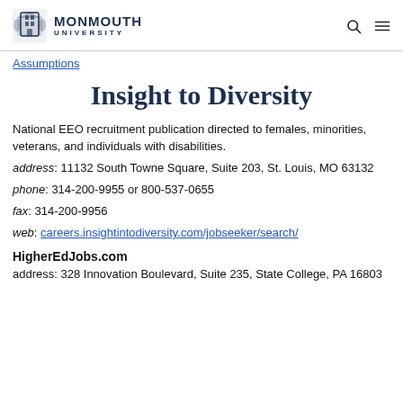Monmouth University
Assumptions
Insight to Diversity
National EEO recruitment publication directed to females, minorities, veterans, and individuals with disabilities.
address: 11132 South Towne Square, Suite 203, St. Louis, MO 63132
phone: 314-200-9955 or 800-537-0655
fax: 314-200-9956
web: careers.insightintodiversity.com/jobseeker/search/
HigherEdJobs.com
address: 328 Innovation Boulevard, Suite 235, State College, PA 16803